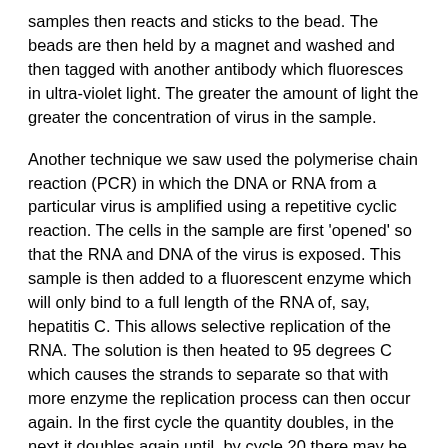samples then reacts and sticks to the bead. The beads are then held by a magnet and washed and then tagged with another antibody which fluoresces in ultra-violet light. The greater the amount of light the greater the concentration of virus in the sample.
Another technique we saw used the polymerise chain reaction (PCR) in which the DNA or RNA from a particular virus is amplified using a repetitive cyclic reaction. The cells in the sample are first 'opened' so that the RNA and DNA of the virus is exposed. This sample is then added to a fluorescent enzyme which will only bind to a full length of the RNA of, say, hepatitis C. This allows selective replication of the RNA. The solution is then heated to 95 degrees C which causes the strands to separate so that with more enzyme the replication process can then occur again. In the first cycle the quantity doubles, in the next it doubles again until, by cycle 20 there may be enough fluorescent RNA to be seen in the light detector.
Maybe I am strange but I found this really exciting. It means that if you have a sample you are desperate to analyse you